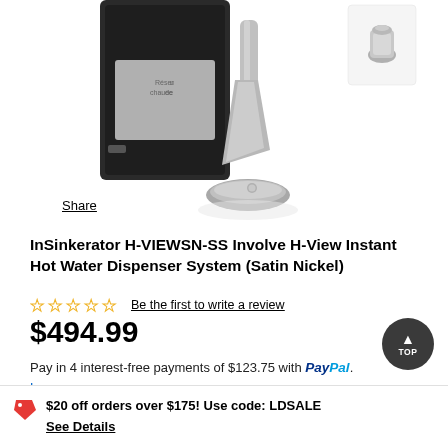[Figure (photo): InSinkerator H-VIEWSN-SS Involve H-View Instant Hot Water Dispenser System product photo showing the faucet in satin nickel finish with tank unit, and a small inset image of the dispenser cap in upper right]
Share
InSinkerator H-VIEWSN-SS Involve H-View Instant Hot Water Dispenser System (Satin Nickel)
☆☆☆☆☆ Be the first to write a review
$494.99
Pay in 4 interest-free payments of $123.75 with PayPal. Learn more
$20 off orders over $175! Use code: LDSALE
See Details